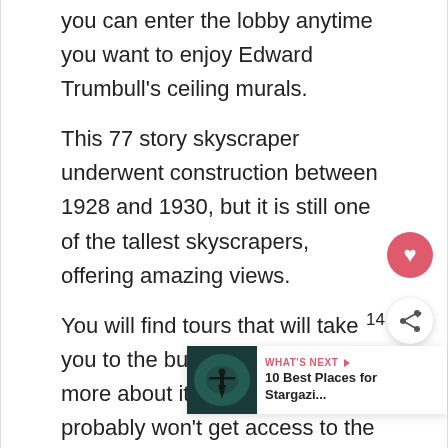you can enter the lobby anytime you want to enjoy Edward Trumbull's ceiling murals.
This 77 story skyscraper underwent construction between 1928 and 1930, but it is still one of the tallest skyscrapers, offering amazing views.
You will find tours that will take you to the building and teach you more about it, although you probably won't get access to the top floor.
Height of this skyscraper: 1,046